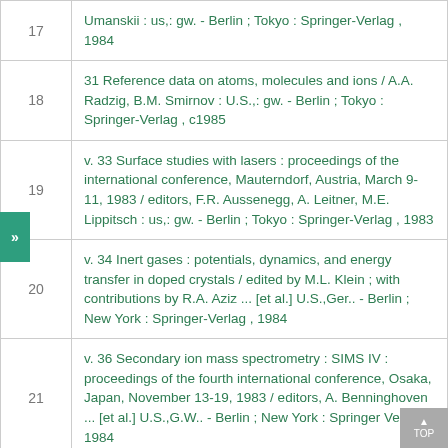| # | Reference |
| --- | --- |
| 17 | Umanskii : us,: gw. - Berlin ; Tokyo : Springer-Verlag , 1984 |
| 18 | 31 Reference data on atoms, molecules and ions / A.A. Radzig, B.M. Smirnov : U.S.,: gw. - Berlin ; Tokyo : Springer-Verlag , c1985 |
| 19 | v. 33 Surface studies with lasers : proceedings of the international conference, Mauterndorf, Austria, March 9-11, 1983 / editors, F.R. Aussenegg, A. Leitner, M.E. Lippitsch : us,: gw. - Berlin ; Tokyo : Springer-Verlag , 1983 |
| 20 | v. 34 Inert gases : potentials, dynamics, and energy transfer in doped crystals / edited by M.L. Klein ; with contributions by R.A. Aziz ... [et al.] U.S.,Ger.. - Berlin ; New York : Springer-Verlag , 1984 |
| 21 | v. 36 Secondary ion mass spectrometry : SIMS IV : proceedings of the fourth international conference, Osaka, Japan, November 13-19, 1983 / editors, A. Benninghoven ... [et al.] U.S.,G.W.. - Berlin ; New York : Springer Verlag , 1984 |